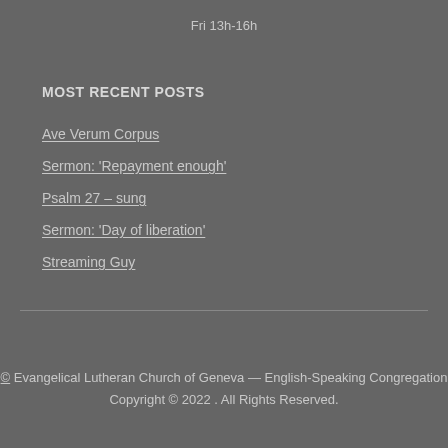Fri 13h-16h
MOST RECENT POSTS
Ave Verum Corpus
Sermon: 'Repayment enough'
Psalm 27 – sung
Sermon: 'Day of liberation'
Streaming Guy
© Evangelical Lutheran Church of Geneva — English-Speaking Congregation Copyright © 2022 . All Rights Reserved.